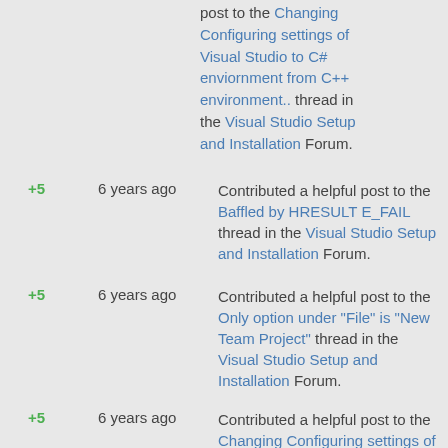post to the Changing Configuring settings of Visual Studio to C# enviornment from C++ environment.. thread in the Visual Studio Setup and Installation Forum.
+5   6 years ago   Contributed a helpful post to the Baffled by HRESULT E_FAIL thread in the Visual Studio Setup and Installation Forum.
+5   6 years ago   Contributed a helpful post to the Only option under "File" is "New Team Project" thread in the Visual Studio Setup and Installation Forum.
+5   6 years ago   Contributed a helpful post to the Changing Configuring settings of